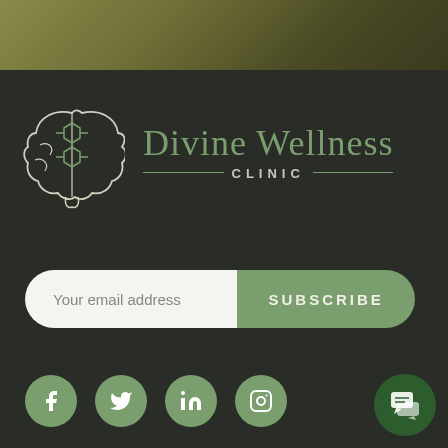[Figure (logo): Divine Wellness Clinic logo with brain and molecular structure icon on dark background]
Your email address
SUBSCRIBE
[Figure (infographic): Social media icons: Facebook, Twitter, LinkedIn, Instagram in green circles]
[Figure (other): Chat button in dark green circle at bottom right]